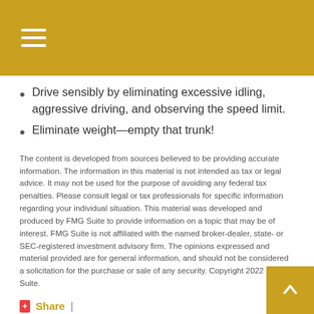Navigation menu header bar
Drive sensibly by eliminating excessive idling, aggressive driving, and observing the speed limit.
Eliminate weight—empty that trunk!
The content is developed from sources believed to be providing accurate information. The information in this material is not intended as tax or legal advice. It may not be used for the purpose of avoiding any federal tax penalties. Please consult legal or tax professionals for specific information regarding your individual situation. This material was developed and produced by FMG Suite to provide information on a topic that may be of interest. FMG Suite is not affiliated with the named broker-dealer, state- or SEC-registered investment advisory firm. The opinions expressed and material provided are for general information, and should not be considered a solicitation for the purchase or sale of any security. Copyright 2022 FMG Suite.
Share |
Have A Question About This Topic?
Name